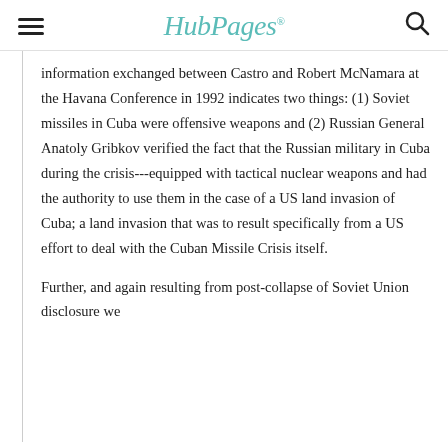HubPages
information exchanged between Castro and Robert McNamara at the Havana Conference in 1992 indicates two things: (1) Soviet missiles in Cuba were offensive weapons and (2) Russian General Anatoly Gribkov verified the fact that the Russian military in Cuba during the crisis---equipped with tactical nuclear weapons and had the authority to use them in the case of a US land invasion of Cuba; a land invasion that was to result specifically from a US effort to deal with the Cuban Missile Crisis itself.
Further, and again resulting from post-collapse of Soviet Union disclosure we